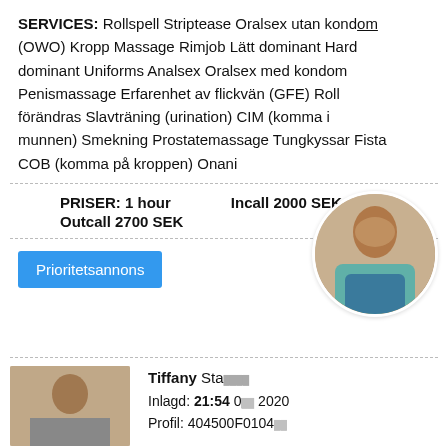SERVICES: Rollspell Striptease Oralsex utan kondom (OWO) Kropp Massage Rimjob Lätt dominant Hard dominant Uniforms Analsex Oralsex med kondom Penismassage Erfarenhet av flickvän (GFE) Roll förändras Slavträning (urination) CIM (komma i munnen) Smekning Prostatemassage Tungkyssar Fista COB (komma på kroppen) Onani
PRISER: 1 hour   Incall 2000 SEK
Outcall 2700 SEK
Prioritetsannons
[Figure (photo): Circular cropped photo of a woman in a teal top and denim shorts, viewed from behind/side]
[Figure (photo): Photo of a woman with dark hair, partially visible]
Tiffany Sta...
Inlagd: 21:54 0... 2020
Profil: 404500F0104...